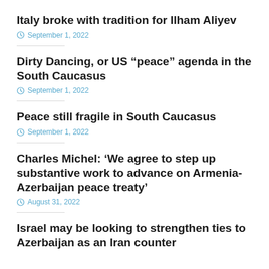Italy broke with tradition for Ilham Aliyev
September 1, 2022
Dirty Dancing, or US “peace” agenda in the South Caucasus
September 1, 2022
Peace still fragile in South Caucasus
September 1, 2022
Charles Michel: ‘We agree to step up substantive work to advance on Armenia-Azerbaijan peace treaty’
August 31, 2022
Israel may be looking to strengthen ties to Azerbaijan as an Iran counter